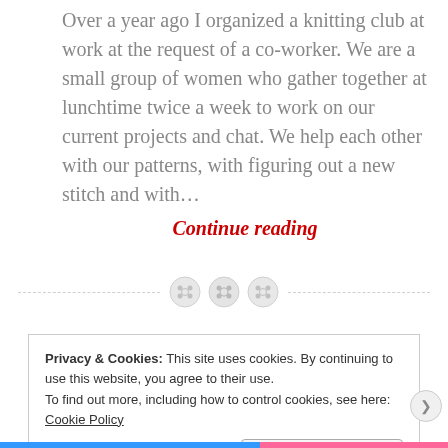Over a year ago I organized a knitting club at work at the request of a co-worker. We are a small group of women who gather together at lunchtime twice a week to work on our current projects and chat. We help each other with our patterns, with figuring out a new stitch and with...
Continue reading
[Figure (illustration): Three decorative button icons on a dashed horizontal divider line]
Privacy & Cookies: This site uses cookies. By continuing to use this website, you agree to their use.
To find out more, including how to control cookies, see here: Cookie Policy
Close and accept